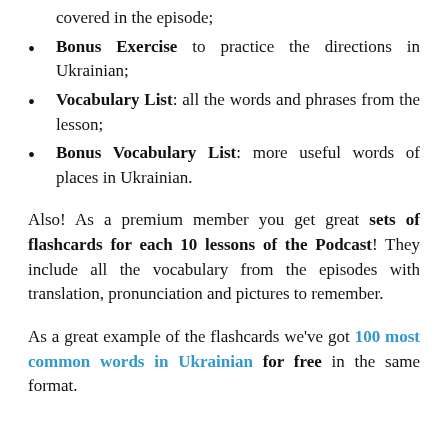covered in the episode;
Bonus Exercise to practice the directions in Ukrainian;
Vocabulary List: all the words and phrases from the lesson;
Bonus Vocabulary List: more useful words of places in Ukrainian.
Also! As a premium member you get great sets of flashcards for each 10 lessons of the Podcast! They include all the vocabulary from the episodes with translation, pronunciation and pictures to remember.
As a great example of the flashcards we've got 100 most common words in Ukrainian for free in the same format.